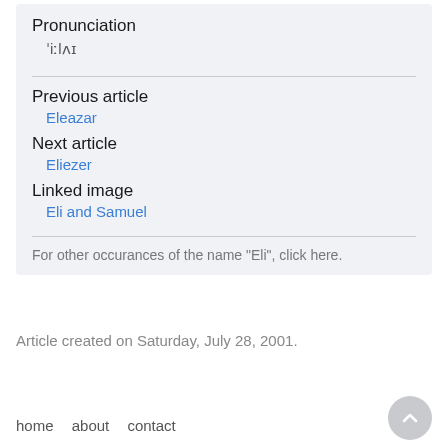Pronunciation
ˈiːlʌɪ
Previous article
Eleazar
Next article
Eliezer
Linked image
Eli and Samuel
For other occurances of the name "Eli", click here.
Article created on Saturday, July 28, 2001.
home   about   contact